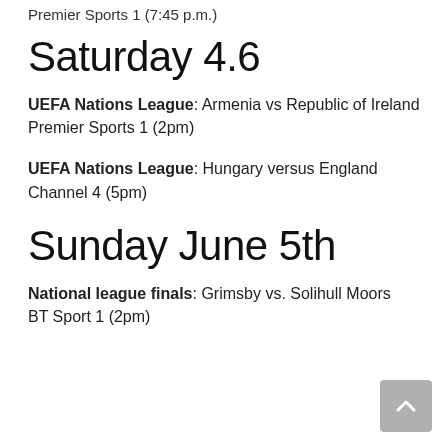Premier Sports 1 (7:45 p.m.)
Saturday 4.6
UEFA Nations League: Armenia vs Republic of Ireland
Premier Sports 1 (2pm)
UEFA Nations League: Hungary versus England
Channel 4 (5pm)
Sunday June 5th
National league finals: Grimsby vs. Solihull Moors
BT Sport 1 (2pm)